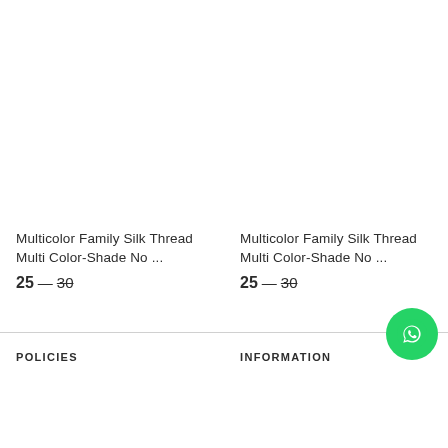[Figure (photo): White/blank product image placeholder for Multicolor Family Silk Thread left card]
Multicolor Family Silk Thread Multi Color-Shade No ...
25 — 30
[Figure (photo): White/blank product image placeholder for Multicolor Family Silk Thread right card]
Multicolor Family Silk Thread Multi Color-Shade No ...
25 — 30
[Figure (logo): WhatsApp chat button - green circle with WhatsApp logo]
POLICIES
INFORMATION